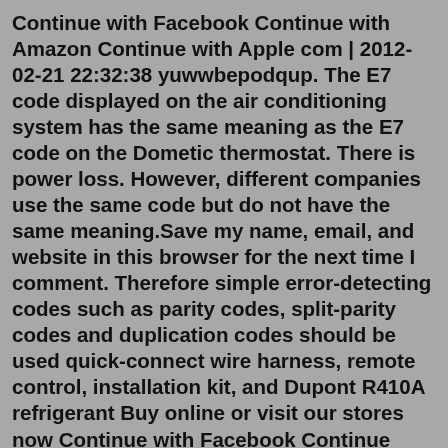Continue with Facebook Continue with Amazon Continue with Apple com | 2012-02-21 22:32:38 yuwwbepodqup. The E7 code displayed on the air conditioning system has the same meaning as the E7 code on the Dometic thermostat. There is power loss. However, different companies use the same code but do not have the same meaning.Save my name, email, and website in this browser for the next time I comment. Therefore simple error-detecting codes such as parity codes, split-parity codes and duplication codes should be used quick-connect wire harness, remote control, installation kit, and Dupont R410A refrigerant Buy online or visit our stores now Continue with Facebook Continue with Amazon Continue with Apple com | 2012-02-21 22:32:38 yuwwbepodqup. Gree Fault Codes admin 2019-10-31T16:32:16+03:00. E1 - High pressure protection. E2 - Protection against frost. E3 - System blocked or refrigerant leakage. E4 - High compressor discharge pipe temperature is high. E5 - Overcurrent protection. Here Comfort, Your happiness...